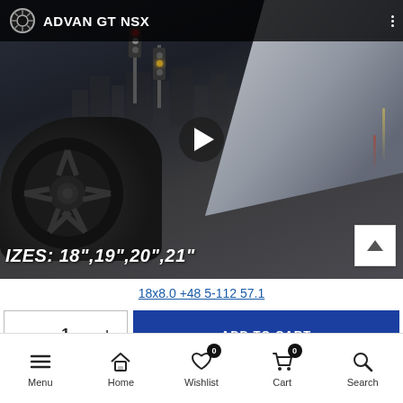[Figure (screenshot): Video thumbnail for ADVAN GT NSX wheel product. Shows a white sports car (NSX) with large black wheel, city background with traffic lights. Video title 'ADVAN GT NSX' shown in top bar with wheel icon. Play button in center. Text overlay at bottom: 'IZES: 18",19",20",21"'. Scroll-up button at bottom right.]
18x8.0 +48 5-112 57.1
ADD TO CART
Menu  Home  Wishlist  Cart  Search